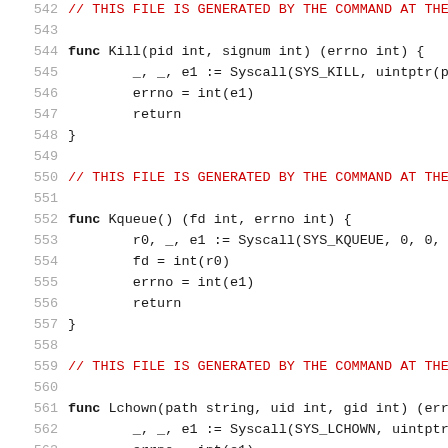542  // THIS FILE IS GENERATED BY THE COMMAND AT THE
543
544  func Kill(pid int, signum int) (errno int) {
545       _, _, e1 := Syscall(SYS_KILL, uintptr(p
546       errno = int(e1)
547       return
548  }
549
550  // THIS FILE IS GENERATED BY THE COMMAND AT THE
551
552  func Kqueue() (fd int, errno int) {
553       r0, _, e1 := Syscall(SYS_KQUEUE, 0, 0,
554       fd = int(r0)
555       errno = int(e1)
556       return
557  }
558
559  // THIS FILE IS GENERATED BY THE COMMAND AT THE
560
561  func Lchown(path string, uid int, gid int) (err
562       _, _, e1 := Syscall(SYS_LCHOWN, uintptr
563       errno = int(e1)